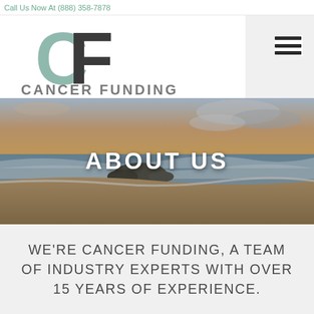Call Us Now At (888) 358-7878
[Figure (logo): Cancer Funding logo: CF monogram with green C and dark F, with 'CANCER FUNDING' text below]
[Figure (photo): Coastal beach scene at sunset with waves and rocks, hero banner image]
ABOUT US
WE'RE CANCER FUNDING, A TEAM OF INDUSTRY EXPERTS WITH OVER 15 YEARS OF EXPERIENCE.